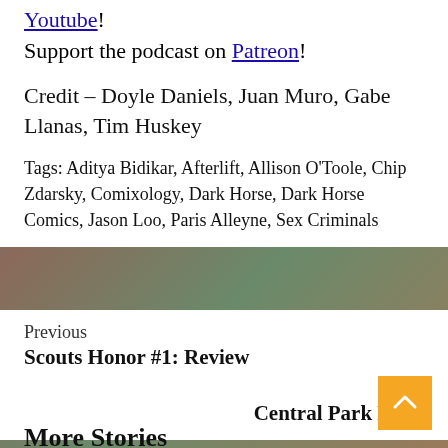Youtube!
Support the podcast on Patreon!
Credit – Doyle Daniels, Juan Muro, Gabe Llanas, Tim Huskey
Tags: Aditya Bidikar, Afterlift, Allison O'Toole, Chip Zdarsky, Comixology, Dark Horse, Dark Horse Comics, Jason Loo, Paris Alleyne, Sex Criminals
Previous
Scouts Honor #1: Review
Next
Central Park Dark
More Stories